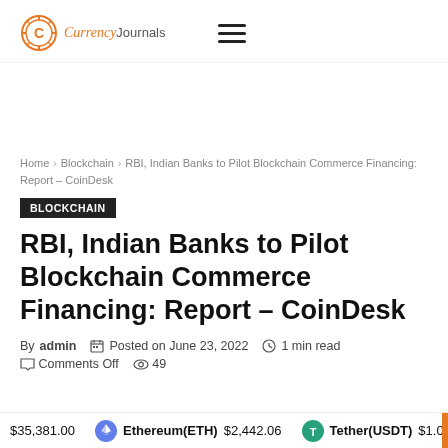Currency Journals
Home › Blockchain › RBI, Indian Banks to Pilot Blockchain Commerce Financing: Report – CoinDesk
BLOCKCHAIN
RBI, Indian Banks to Pilot Blockchain Commerce Financing: Report – CoinDesk
By admin  Posted on June 23, 2022  1 min read  Comments Off  49
$35,381.00  Ethereum(ETH) $2,442.06  Tether(USDT) $1.00